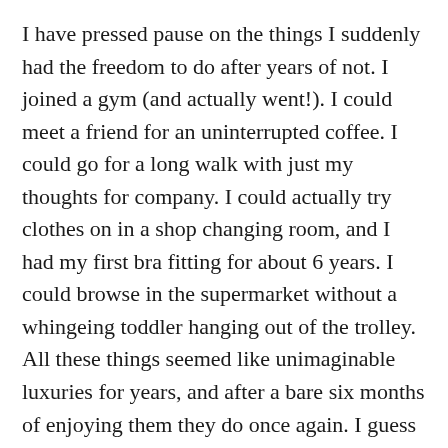I have pressed pause on the things I suddenly had the freedom to do after years of not. I joined a gym (and actually went!). I could meet a friend for an uninterrupted coffee. I could go for a long walk with just my thoughts for company. I could actually try clothes on in a shop changing room, and I had my first bra fitting for about 6 years. I could browse in the supermarket without a whingeing toddler hanging out of the trolley. All these things seemed like unimaginable luxuries for years, and after a bare six months of enjoying them they do once again. I guess the difference being that now they are impossible for everyone!